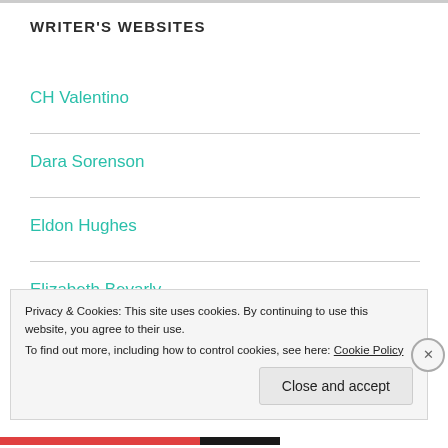WRITER'S WEBSITES
CH Valentino
Dara Sorenson
Eldon Hughes
Elizabeth Bevarly
Privacy & Cookies: This site uses cookies. By continuing to use this website, you agree to their use.
To find out more, including how to control cookies, see here: Cookie Policy
Close and accept